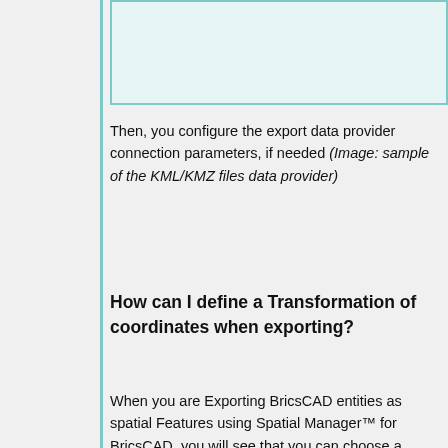[Figure (screenshot): Sample UI screenshot showing the KML/KMZ files data provider configuration panel with teal/light blue background]
Then, you configure the export data provider connection parameters, if needed (Image: sample of the KML/KMZ files data provider)
How can I define a Transformation of coordinates when exporting?
When you are Exporting BricsCAD entities as spatial Features using Spatial Manager™ for BricsCAD, you will see that you can choose a Transformation of coordinates from the source to the target, in the "Export" wizard. This means that the application will calculate